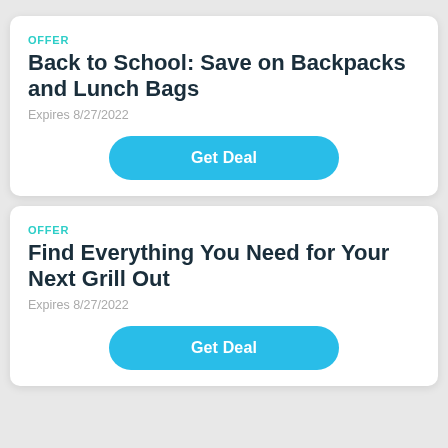OFFER
Back to School: Save on Backpacks and Lunch Bags
Expires 8/27/2022
Get Deal
OFFER
Find Everything You Need for Your Next Grill Out
Expires 8/27/2022
Get Deal